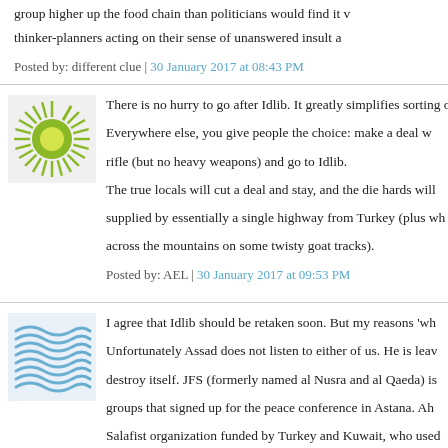group higher up the food chain than politicians would find it w... thinker-planners acting on their sense of unanswered insult a...
Posted by: different clue | 30 January 2017 at 08:43 PM
[Figure (illustration): Sun/rays avatar icon - green circular sun with yellow center and radiating lines]
There is no hurry to go after Idlib. It greatly simplifies sorting o... Everywhere else, you give people the choice: make a deal w... rifle (but no heavy weapons) and go to Idlib.

The true locals will cut a deal and stay, and the die hards will... supplied by essentially a single highway from Turkey (plus wh... across the mountains on some twisty goat tracks).
Posted by: AEL | 30 January 2017 at 09:53 PM
[Figure (illustration): Wave/lines avatar icon - blue wave pattern in a square]
I agree that Idlib should be retaken soon. But my reasons 'wh...

Unfortunately Assad does not listen to either of us. He is leav... destroy itself. JFS (formerly named al Nusra and al Qaeda) is... groups that signed up for the peace conference in Astana. Ah... Salafist organization funded by Turkey and Kuwait, who used... fighting against them and smaller groups influenced by JFS.

The Syrian strategy seems to be clean up the many small po...